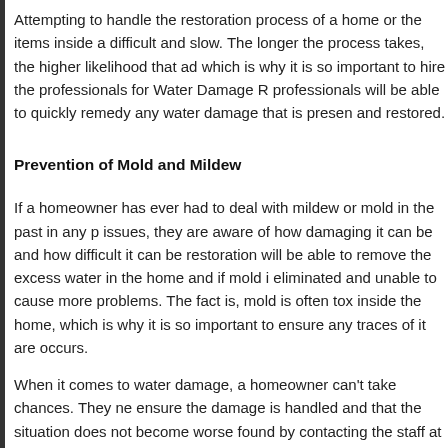Attempting to handle the restoration process of a home or the items inside a difficult and slow. The longer the process takes, the higher likelihood that ad which is why it is so important to hire the professionals for Water Damage R professionals will be able to quickly remedy any water damage that is presen and restored.
Prevention of Mold and Mildew
If a homeowner has ever had to deal with mildew or mold in the past in any p issues, they are aware of how damaging it can be and how difficult it can be restoration will be able to remove the excess water in the home and if mold i eliminated and unable to cause more problems. The fact is, mold is often tox inside the home, which is why it is so important to ensure any traces of it are occurs.
When it comes to water damage, a homeowner can't take chances. They ne ensure the damage is handled and that the situation does not become worse found by contacting the staff at Steam Action Carpet Cleaning & Restoration Facebook.
[Figure (other): Thumbs up like button icon]
Be the first to like.
Like